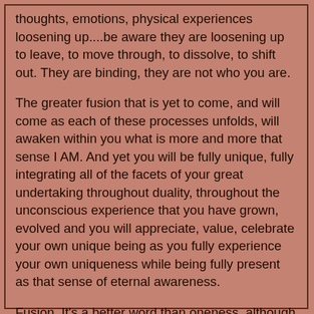thoughts, emotions, physical experiences loosening up....be aware they are loosening up to leave, to move through, to dissolve, to shift out. They are binding, they are not who you are.
The greater fusion that is yet to come, and will come as each of these processes unfolds, will awaken within you what is more and more that sense I AM. And yet you will be fully unique, fully integrating all of the facets of your great undertaking throughout duality, throughout the unconscious experience that you have grown, evolved and you will appreciate, value, celebrate your own unique being as you fully experience your own uniqueness while being fully present as that sense of eternal awareness.
Fusion. It's a better word than oneness, although many people use oneness as that which is their experience or understanding of what is taking place. Ascension could be another word some use, but it is misleading unless one indicates that this is happening here.
And watch those places in you that open with greater